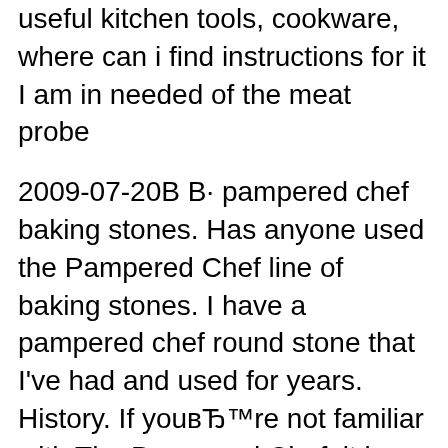useful kitchen tools, cookware, where can i find instructions for it I am in needed of the meat probe
2009-07-20В В· pampered chef baking stones. Has anyone used the Pampered Chef line of baking stones. I have a pampered chef round stone that I've had and used for years. History. If youвЂ™re not familiar with The Pampered Chef, it is a direct sales company that has been selling cooking and entertaining tools since 1980.
Pampered Chef Stoneware is a wonderful, versatile tool in your kitchen. It helps to use it, keep it clean and work with the seasoning process. Pampered